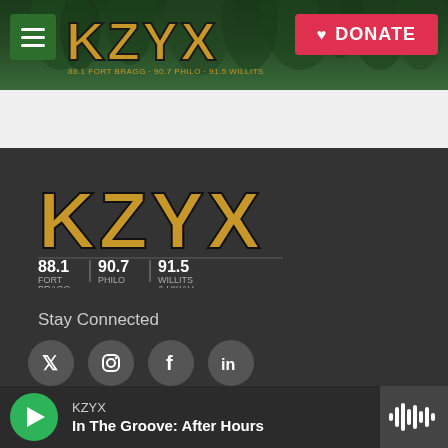[Figure (screenshot): KZYX radio station website header with forest/trees background, hamburger menu icon on dark green button, KZYX logo in gold, and red DONATE button with heart icon]
[Figure (logo): KZYX logo in large gold/black lettering with frequency info: 88.1 FORT BRAGG | 90.7 PHILO | 91.5 WILLITS & UKIAH]
Stay Connected
[Figure (illustration): Social media icons for Twitter, Instagram, Facebook, and LinkedIn in dark circular buttons]
© 2022 KZYX
Support KZYX
KZYX
In The Groove: After Hours